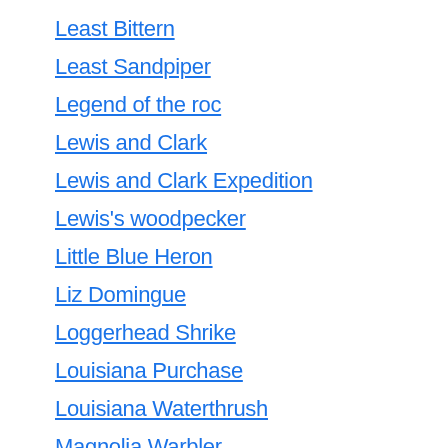Least Bittern
Least Sandpiper
Legend of the roc
Lewis and Clark
Lewis and Clark Expedition
Lewis's woodpecker
Little Blue Heron
Liz Domingue
Loggerhead Shrike
Louisiana Purchase
Louisiana Waterthrush
Magnolia Warbler
Male birds
Maria Sibylla Merian
Martins
Masked birds
Masks
Mating displays
McDowell News